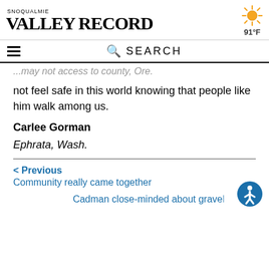SNOQUALMIE VALLEY RECORD | 91°F
…may not access to county, Ore.
not feel safe in this world knowing that people like him walk among us.
Carlee Gorman
Ephrata, Wash.
< Previous
Community really came together
Cadman close-minded about gravel